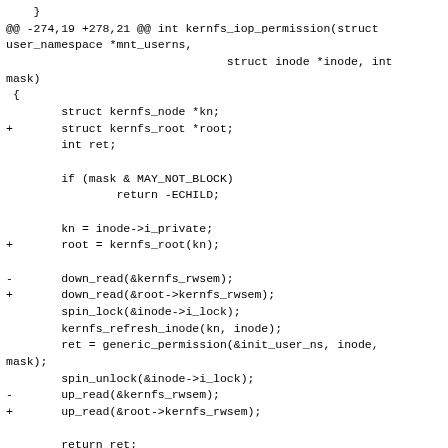}
@@ -274,19 +278,21 @@ int kernfs_iop_permission(struct user_namespace *mnt_userns,
                                struct inode *inode, int
mask)
 {
        struct kernfs_node *kn;
+       struct kernfs_root *root;
        int ret;

        if (mask & MAY_NOT_BLOCK)
                return -ECHILD;

        kn = inode->i_private;
+       root = kernfs_root(kn);

-       down_read(&kernfs_rwsem);
+       down_read(&root->kernfs_rwsem);
        spin_lock(&inode->i_lock);
        kernfs_refresh_inode(kn, inode);
        ret = generic_permission(&init_user_ns, inode,
mask);
        spin_unlock(&inode->i_lock);
-       up_read(&kernfs_rwsem);
+       up_read(&root->kernfs_rwsem);

        return ret;
 }
diff --git a/fs/kernfs/mount.c b/fs/kernfs/mount.c
index f2f909d09f52..cfa79715fc1a 100644